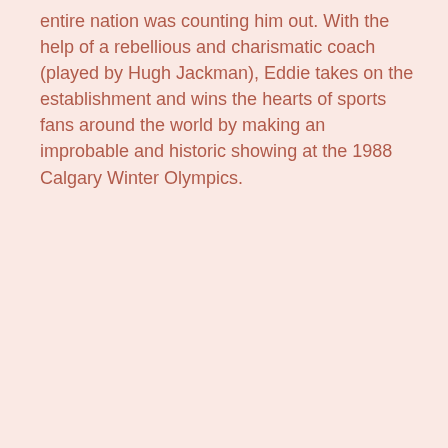entire nation was counting him out. With the help of a rebellious and charismatic coach (played by Hugh Jackman), Eddie takes on the establishment and wins the hearts of sports fans around the world by making an improbable and historic showing at the 1988 Calgary Winter Olympics.